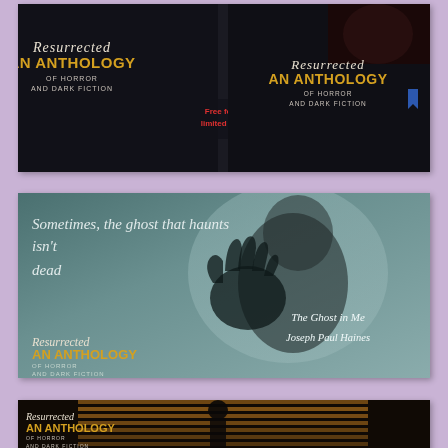[Figure (illustration): Top card showing two book covers for 'Resurrected: An Anthology of Horror and Dark Fiction' side by side on dark background, with red promotional text 'Free for a limited time' in the center]
[Figure (illustration): Middle card showing a ghostly silhouette with a hand pressed against frosted glass, teal/grey tones. Text reads 'Sometimes, the ghost that haunts isn't dead'. Also shows 'The Ghost in Me' and 'Joseph Paul Haines' and anthology logo at bottom left.]
[Figure (illustration): Bottom card (partially visible) showing a person silhouetted against venetian blinds with warm light, with 'Resurrected: An Anthology of Horror and Dark Fiction' logo overlay.]